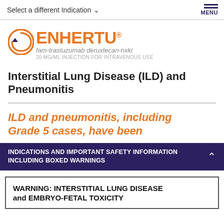Select a different Indication ∨   MENU
[Figure (logo): ENHERTU logo with orange circular arrow icon, brand name in orange bold text, generic name fam-trastuzumab deruxtecan-nxki in gray italic, and 20 mg/mL INJECTION FOR INTRAVENOUS USE in small gray text]
Interstitial Lung Disease (ILD) and Pneumonitis
ILD and pneumonitis, including Grade 5 cases, have been
INDICATIONS AND IMPORTANT SAFETY INFORMATION INCLUDING BOXED WARNINGS
WARNING: INTERSTITIAL LUNG DISEASE and EMBRYO-FETAL TOXICITY